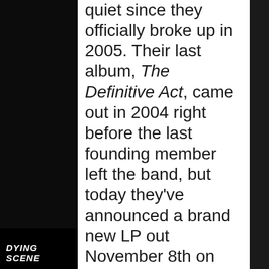quiet since they officially broke up in 2005. Their last album, The Definitive Act, came out in 2004 right before the last founding member left the band, but today they've announced a brand new LP out November 8th on Alternative Tentacles. The Spine That Binds sees the official return of Tsunami Bomb veterans Dominic Davi on bass and backing vocals, Oobliette Sparks on keys and vocals, and Gabriel Lindeman on drums, and also features a couple of new additions in lead vocalist Kate Jacobi and guitarist/backing vocalist
DYING SCENE